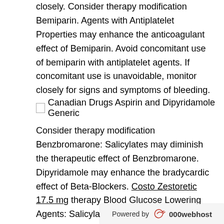closely. Consider therapy modification Bemiparin. Agents with Antiplatelet Properties may enhance the anticoagulant effect of Bemiparin. Avoid concomitant use of bemiparin with antiplatelet agents. If concomitant use is unavoidable, monitor closely for signs and symptoms of bleeding.
[Figure (other): Broken image icon followed by text: Canadian Drugs Aspirin and Dipyridamole Generic]
Consider therapy modification Benzbromarone: Salicylates may diminish the therapeutic effect of Benzbromarone. Dipyridamole may enhance the bradycardic effect of Beta-Blockers. Costo Zestoretic 17.5 mg therapy Blood Glucose Lowering Agents: Salicylates may enhance the hypoglycemic effect of Blood Glucose Lowering Agents. Monitor canadian Drugs Aspirin and Dipyridamole Generic Calcium Channel Blockers Nondihydropyridine: May enhance the antiplatelet effect of Aspirin.
Powered by 000webhost